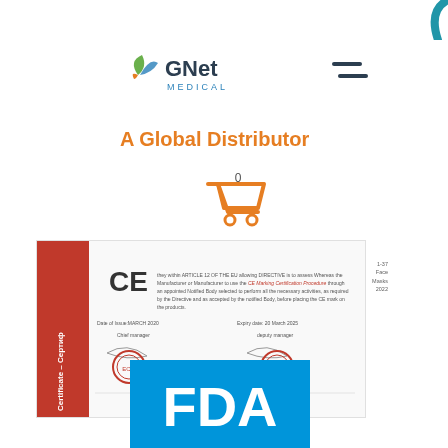[Figure (logo): GNet Medical logo with green leaf/wing icon and teal MEDICAL text]
[Figure (illustration): Hamburger/menu icon with two horizontal dark lines]
A Global Distributor
[Figure (illustration): Shopping cart icon in orange with 0 items]
[Figure (photo): CE Certificate document with red Certificate/Сертиф sidebar, CE marking logo, Italian certification authority footer]
[Figure (logo): FDA logo - white FDA text on blue background]